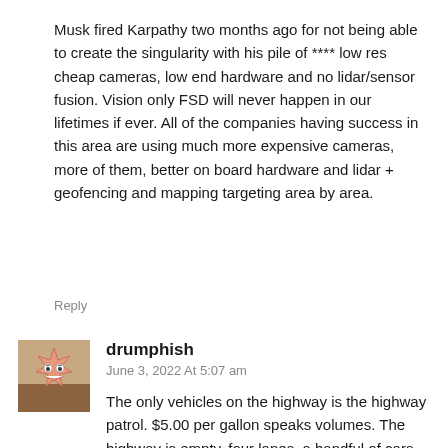Musk fired Karpathy two months ago for not being able to create the singularity with his pile of **** low res cheap cameras, low end hardware and no lidar/sensor fusion. Vision only FSD will never happen in our lifetimes if ever. All of the companies having success in this area are using much more expensive cameras, more of them, better on board hardware and lidar + geofencing and mapping targeting area by area.
Reply
[Figure (illustration): User avatar icon: pink spiky star-shaped character with eyes and teeth on a brown/tan background]
drumphish
June 3, 2022 At 5:07 am
The only vehicles on the highway is the highway patrol. $5.00 per gallon speaks volumes. The highway is empty, four lanes, a handful of cars, a